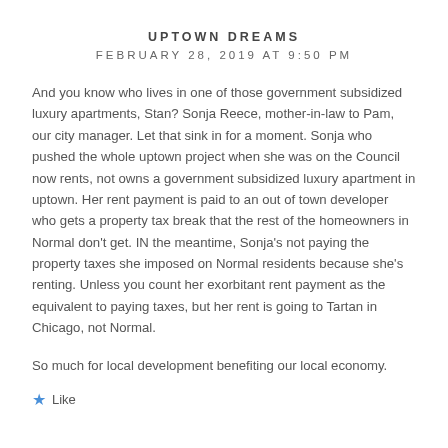UPTOWN DREAMS
FEBRUARY 28, 2019 AT 9:50 PM
And you know who lives in one of those government subsidized luxury apartments, Stan? Sonja Reece, mother-in-law to Pam, our city manager. Let that sink in for a moment. Sonja who pushed the whole uptown project when she was on the Council now rents, not owns a government subsidized luxury apartment in uptown. Her rent payment is paid to an out of town developer who gets a property tax break that the rest of the homeowners in Normal don't get. IN the meantime, Sonja's not paying the property taxes she imposed on Normal residents because she's renting. Unless you count her exorbitant rent payment as the equivalent to paying taxes, but her rent is going to Tartan in Chicago, not Normal.
So much for local development benefiting our local economy.
Like